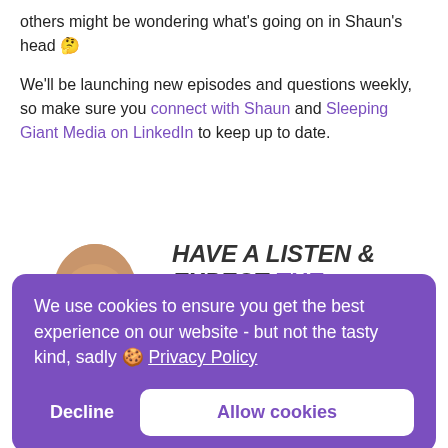others might be wondering what's going on in Shaun's head 🤔
We'll be launching new episodes and questions weekly, so make sure you connect with Shaun and Sleeping Giant Media on LinkedIn to keep up to date.
[Figure (photo): Photo of a bald man with a beard, shown from the shoulders up, looking upward and to the side, with text 'HAVE A LISTEN & EXPECT THE' beside him.]
We use cookies to ensure you get the best experience on our website - but not the tasty kind, sadly 🍪 Privacy Policy
Decline   Allow cookies